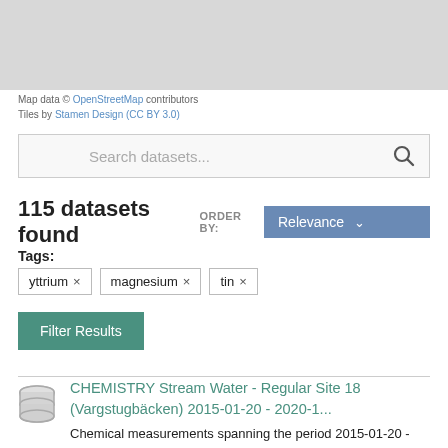[Figure (map): Gray map area at top of page]
Map data © OpenStreetMap contributors
Tiles by Stamen Design (CC BY 3.0)
Search datasets...
115 datasets found ORDER BY: Relevance
Tags:
yttrium ×
magnesium ×
tin ×
Filter Results
CHEMISTRY Stream Water - Regular Site 18 (Vargstugbäcken) 2015-01-20 - 2020-1...
Chemical measurements spanning the period 2015-01-20 - 2020-